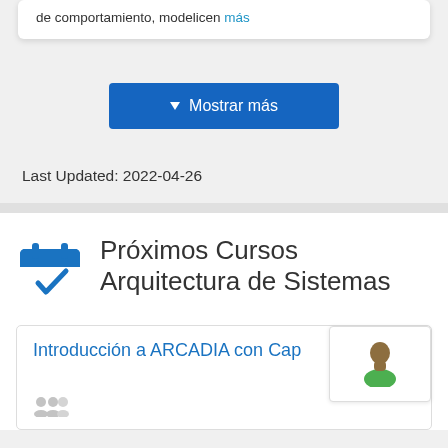de comportamiento, modelicen más
⊙ Mostrar más
Last Updated: 2022-04-26
Próximos Cursos Arquitectura de Sistemas
Introducción a ARCADIA con Cap